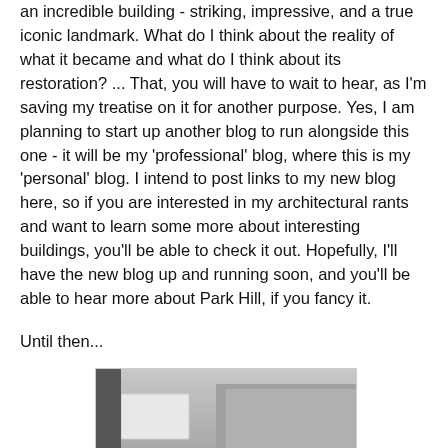an incredible building - striking, impressive, and a true iconic landmark. What do I think about the reality of what it became and what do I think about its restoration? ... That, you will have to wait to hear, as I'm saving my treatise on it for another purpose. Yes, I am planning to start up another blog to run alongside this one - it will be my 'professional' blog, where this is my 'personal' blog. I intend to post links to my new blog here, so if you are interested in my architectural rants and want to learn some more about interesting buildings, you'll be able to check it out. Hopefully, I'll have the new blog up and running soon, and you'll be able to hear more about Park Hill, if you fancy it.
Until then...
[Figure (photo): Black and white photograph showing a concrete brutalist building structure with graffiti reading 'I LOVE YOU WILL U MARRY ME' written on a concrete beam or wall. The image shows urban architecture with a cityscape visible in the background.]